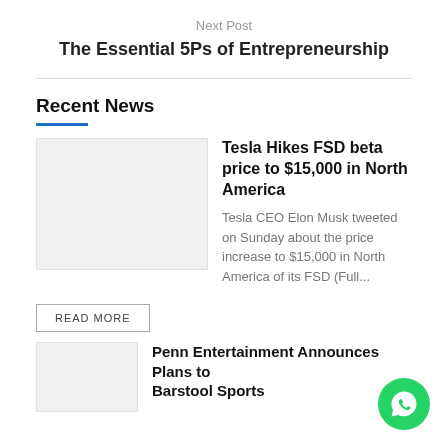Next Post
The Essential 5Ps of Entrepreneurship
Recent News
[Figure (photo): Thumbnail image placeholder for Tesla FSD article]
Tesla Hikes FSD beta price to $15,000 in North America
Tesla CEO Elon Musk tweeted on Sunday about the price increase to $15,000 in North America of its FSD (Full...
READ MORE
[Figure (photo): Thumbnail image placeholder for Penn Entertainment article]
Penn Entertainment Announces Plans to Barstool Sports